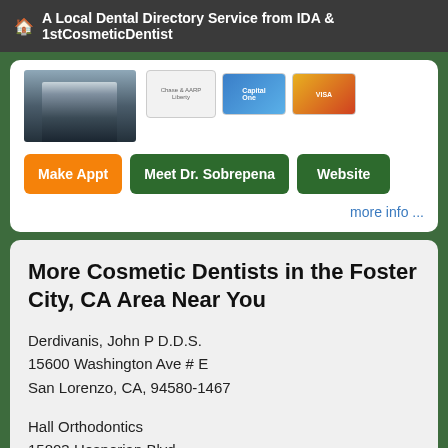A Local Dental Directory Service from IDA & 1stCosmeticDentist
[Figure (photo): Partial view of a doctor in a suit (head/shoulders cropped) alongside credit card payment option thumbnails]
Make Appt  Meet Dr. Sobrepena  Website
more info ...
More Cosmetic Dentists in the Foster City, CA Area Near You
Derdivanis, John P D.D.S.
15600 Washington Ave # E
San Lorenzo, CA, 94580-1467
Hall Orthodontics
15803 Hesperian Blvd
San Lorenzo, CA, 94580-1537
(510) 276-1900